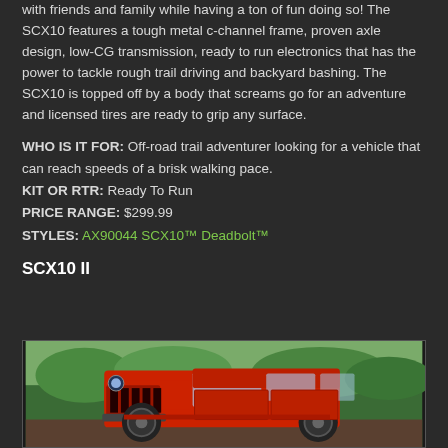with friends and family while having a ton of fun doing so! The SCX10 features a tough metal c-channel frame, proven axle design, low-CG transmission, ready to run electronics that has the power to tackle rough trail driving and backyard bashing. The SCX10 is topped off by a body that screams go for an adventure and licensed tires are ready to grip any surface.
WHO IS IT FOR: Off-road trail adventurer looking for a vehicle that can reach speeds of a brisk walking pace.
KIT OR RTR: Ready To Run
PRICE RANGE: $299.99
STYLES: AX90044 SCX10™ Deadbolt™
SCX10 II
[Figure (photo): Red Jeep Wrangler RC vehicle (SCX10 II) photographed outdoors on rocky terrain with trees/foliage in background]